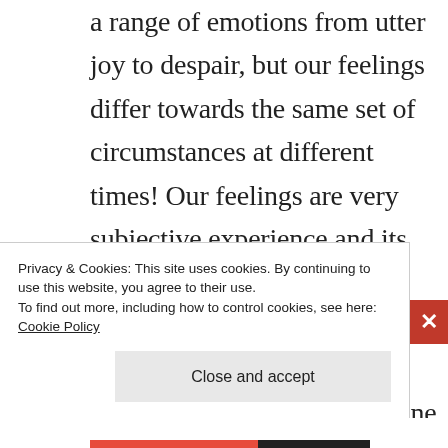a range of emotions from utter joy to despair, but our feelings differ towards the same set of circumstances at different times! Our feelings are very subjective experience and its very person dependent; my feelings may evoke a completely different set of emotional response to someone who is standing next me going through the same experience.
Privacy & Cookies: This site uses cookies. By continuing to use this website, you agree to their use.
To find out more, including how to control cookies, see here: Cookie Policy
Close and accept